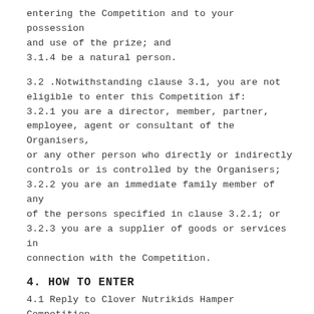entering the Competition and to your possession and use of the prize; and
3.1.4 be a natural person.
3.2 .Notwithstanding clause 3.1, you are not eligible to enter this Competition if:
3.2.1 you are a director, member, partner, employee, agent or consultant of the Organisers, or any other person who directly or indirectly controls or is controlled by the Organisers;
3.2.2 you are an immediate family member of any of the persons specified in clause 3.2.1; or
3.2.3 you are a supplier of goods or services in connection with the Competition.
4. HOW TO ENTER
4.1 Reply to Clover Nutrikids Hamper Competition post that is posted on the Clover Nutrikids Facebook page (https://www.facebook.com/CloverNutrikids/) and/or on Instagram page (https://www.instagram.com/clovernutrikids)